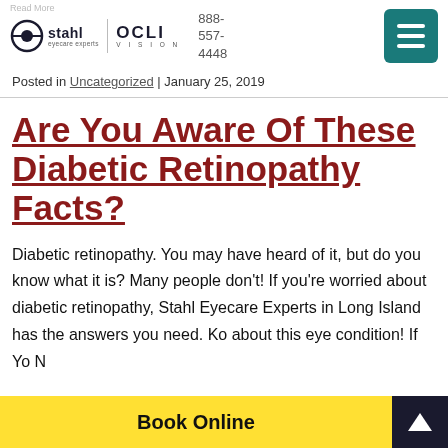stahl eyecare experts | OCLI VISION | 888-557-4448
Posted in Uncategorized | January 25, 2019
Are You Aware Of These Diabetic Retinopathy Facts?
Diabetic retinopathy. You may have heard of it, but do you know what it is? Many people don't! If you're worried about diabetic retinopathy, Stahl Eyecare Experts in Long Island has the answers you need. K... about this eye condition! If Yo... N...